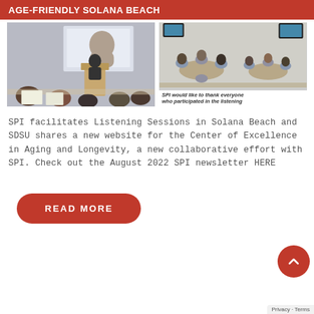AGE-FRIENDLY SOLANA BEACH
[Figure (photo): Person presenting at a podium with a projected slide showing a woman's photo; audience seated at tables in foreground]
[Figure (photo): Groups of people seated at round tables in a community room, listening session setting]
SPI would like to thank everyone who participated in the listening
SPI facilitates Listening Sessions in Solana Beach and SDSU shares a new website for the Center of Excellence in Aging and Longevity, a new collaborative effort with SPI. Check out the August 2022 SPI newsletter HERE
READ MORE
Privacy · Terms